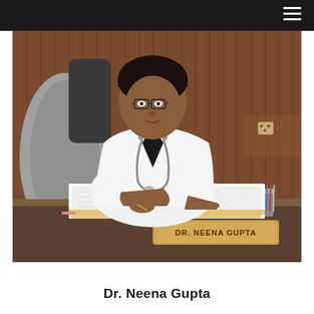[Figure (photo): Dr. Neena Gupta, a female doctor wearing a white lab coat and stethoscope, seated at a desk with papers and a nameplate reading DR. NEENA GUPTA, writing with a pen. Wooden paneling in background, pen holder on desk with Indian flag.]
Dr. Neena Gupta